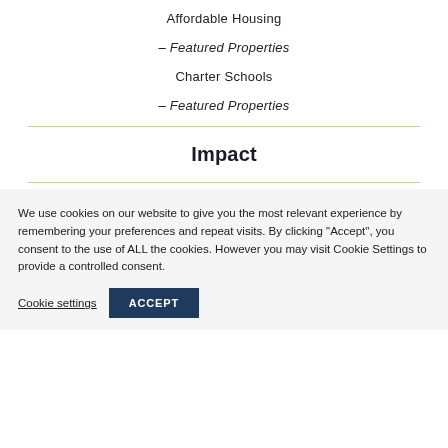Affordable Housing
– Featured Properties
Charter Schools
– Featured Properties
Impact
We use cookies on our website to give you the most relevant experience by remembering your preferences and repeat visits. By clicking “Accept”, you consent to the use of ALL the cookies. However you may visit Cookie Settings to provide a controlled consent.
Cookie settings   ACCEPT